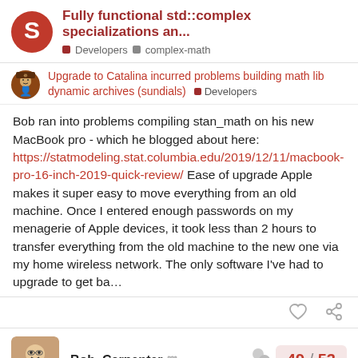Fully functional std::complex specializations an... | Developers | complex-math
Upgrade to Catalina incurred problems building math lib dynamic archives (sundials) | Developers
Bob ran into problems compiling stan_math on his new MacBook pro - which he blogged about here: https://statmodeling.stat.columbia.edu/2019/12/11/macbook-pro-16-inch-2019-quick-review/ Ease of upgrade Apple makes it super easy to move everything from an old machine. Once I entered enough passwords on my menagerie of Apple devices, it took less than 2 hours to transfer everything from the old machine to the new one via my home wireless network. The only software I've had to upgrade to get ba…
Bob_Carpenter 49 / 53